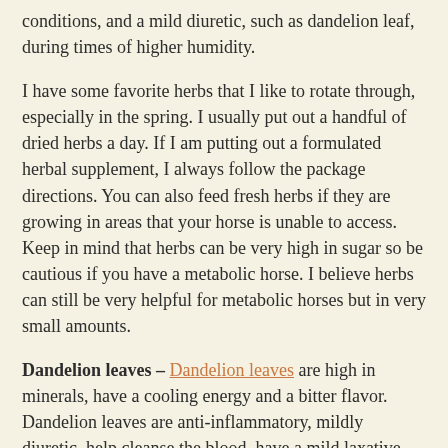conditions, and a mild diuretic, such as dandelion leaf, during times of higher humidity.
I have some favorite herbs that I like to rotate through, especially in the spring. I usually put out a handful of dried herbs a day. If I am putting out a formulated herbal supplement, I always follow the package directions. You can also feed fresh herbs if they are growing in areas that your horse is unable to access. Keep in mind that herbs can be very high in sugar so be cautious if you have a metabolic horse. I believe herbs can still be very helpful for metabolic horses but in very small amounts.
Dandelion leaves – Dandelion leaves are high in minerals, have a cooling energy and a bitter flavor. Dandelion leaves are anti-inflammatory, mildly diuretic, help cleanse the blood, have a mild laxative effect and help with sore joints.